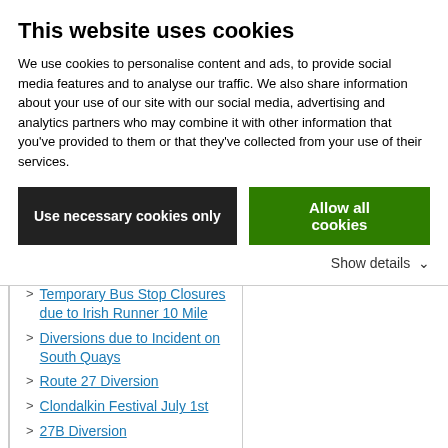This website uses cookies
We use cookies to personalise content and ads, to provide social media features and to analyse our traffic. We also share information about your use of our site with our social media, advertising and analytics partners who may combine it with other information that you've provided to them or that they've collected from your use of their services.
Use necessary cookies only | Allow all cookies | Show details
Street Closure
Temporary Bus Stop Closures due to Irish Runner 10 Mile
Diversions due to Incident on South Quays
Route 27 Diversion
Clondalkin Festival July 1st
27B Diversion
Kids Go Free
Diversion on Route 15
Diversion on Route 79/a
Diversion on Routes 44 and 61
Diversion on Routes 44 and 61